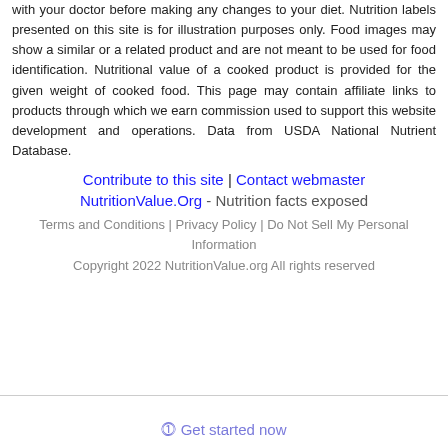with your doctor before making any changes to your diet. Nutrition labels presented on this site is for illustration purposes only. Food images may show a similar or a related product and are not meant to be used for food identification. Nutritional value of a cooked product is provided for the given weight of cooked food. This page may contain affiliate links to products through which we earn commission used to support this website development and operations. Data from USDA National Nutrient Database.
Contribute to this site | Contact webmaster
NutritionValue.Org - Nutrition facts exposed
Terms and Conditions | Privacy Policy | Do Not Sell My Personal Information
Copyright 2022 NutritionValue.org All rights reserved
⓵ Get started now